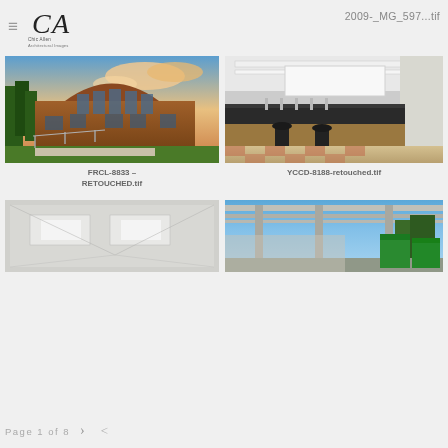Chic Allen Architectural Images — 2009-_MG_597...tif
[Figure (photo): Exterior architectural photo of a modern wood-clad building with arched windows against a dramatic cloudy sky at dusk]
[Figure (photo): Interior photo of a science laboratory with dark countertops, lab stools, and a checkered tile floor]
FRCL-8833 – RETOUCHED.tif
YCCD-8188-retouched.tif
[Figure (photo): Interior photo of a ceiling with recessed lighting panels]
[Figure (photo): Outdoor photo of a pergola/shade structure with metal posts, blue sky, trees, and green dumpsters]
Page 1 of 8